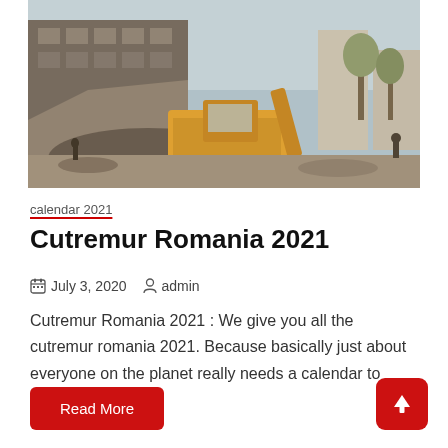[Figure (photo): Photograph of a partially demolished building in Romania with a yellow bulldozer/excavator clearing rubble, people visible in the background near other buildings on a street.]
calendar 2021
Cutremur Romania 2021
July 3, 2020   admin
Cutremur Romania 2021 : We give you all the cutremur romania 2021. Because basically just about everyone on the planet really needs a calendar to
Read More